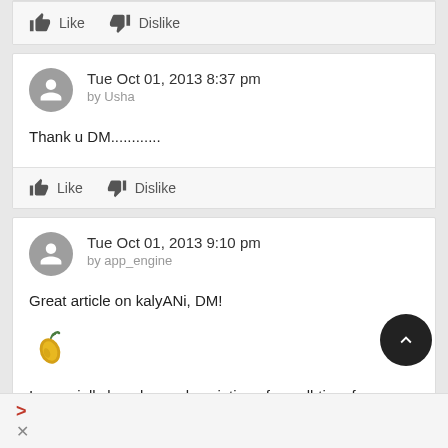Like  Dislike
Tue Oct 01, 2013 8:37 pm
by Usha
Thank u DM............
Like  Dislike
Tue Oct 01, 2013 9:10 pm
by app_engine
Great article on kalyANi, DM!
[Figure (illustration): A chili pepper emoji / sticker graphic]
I especially loved your description of my all-time-fav 'mannavan